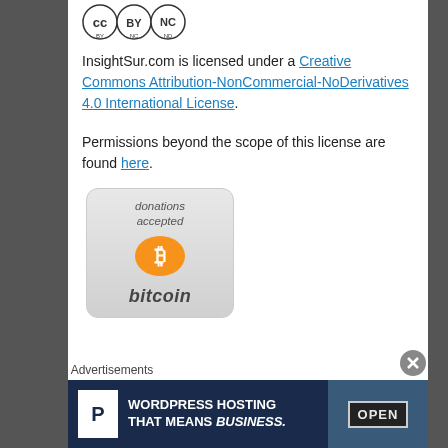[Figure (logo): Creative Commons BY NC ND license badge]
InsightSur.com is licensed under a Creative Commons Attribution-NonCommercial-NoDerivatives 4.0 International License.
Permissions beyond the scope of this license are found here.
[Figure (illustration): Bitcoin donations accepted badge with orange Bitcoin logo]
Advertisements
[Figure (screenshot): WordPress Hosting That Means Business advertisement banner]